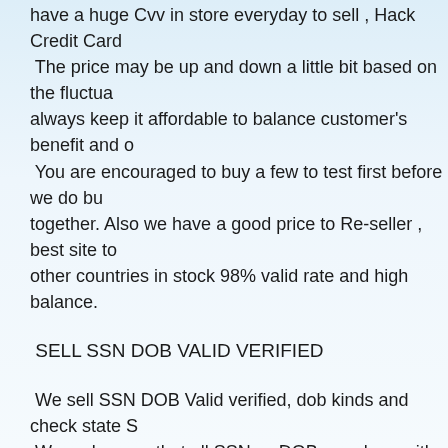have a huge Cvv in store everyday to sell , Hack Credit Card The price may be up and down a little bit based on the fluctua always keep it affordable to balance customer's benefit and o You are encouraged to buy a few to test first before we do bu together. Also we have a good price to Re-seller , best site to other countries in stock 98% valid rate and high balance.
SELL SSN DOB VALID VERIFIED
We sell SSN DOB Valid verified, dob kinds and check state S We make sure that all SSN vs DOB are along with fresh nam because we have software hack getting SSN vs DOB everyda
US/UK FULLZ RANDOM BANK
 US/UK FULLZ WITH ALL BANK (HSBC, BARCLAYS, etc…) 389-6778.
WE OFFER ALL KIND OF HACKING SERVICES - BUY YOU FRESH AND UPDATED STUFFS WITH 98% VALIDITY RATE
Please contact us for your SSN DOB and Cvv of country you WHATSAPP: +1-713-389-6778
Interested persons should contact via Email: atmgeniuslinks@